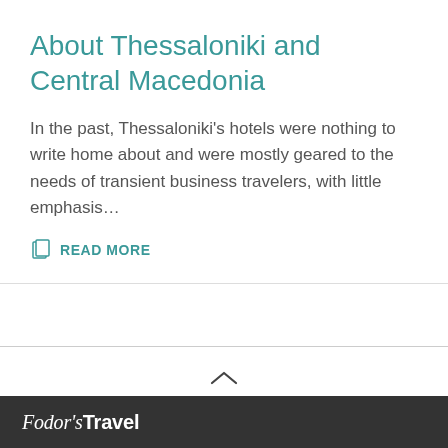About Thessaloniki and Central Macedonia
In the past, Thessaloniki's hotels were nothing to write home about and were mostly geared to the needs of transient business travelers, with little emphasis...
READ MORE
BACK TO TOP
/ HOTELS / EUROPE / GREECE / THESSALONIKI AND CENTRAL MACEDONIA / HOTELS
Fodor's Travel